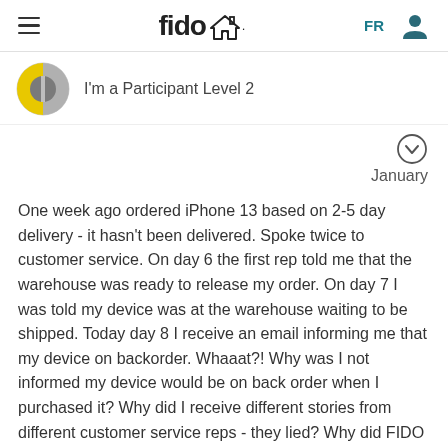fido — FR [navigation header]
I'm a Participant Level 2
January
One week ago ordered iPhone 13 based on 2-5 day delivery - it hasn't been delivered. Spoke twice to customer service. On day 6 the first rep told me that the warehouse was ready to release my order. On day 7 I was told my device was at the warehouse waiting to be shipped. Today day 8 I receive an email informing me that my device on backorder. Whaaat?! Why was I not informed my device would be on back order when I purchased it? Why did I receive different stories from different customer service reps - they lied? Why did FIDO take my money and leave me in limbo on the ETA of my new